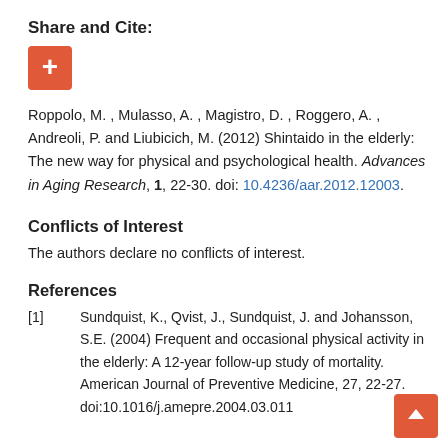Share and Cite:
[Figure (other): Orange plus/add button for sharing and citing]
Roppolo, M. , Mulasso, A. , Magistro, D. , Roggero, A. , Andreoli, P. and Liubicich, M. (2012) Shintaido in the elderly: The new way for physical and psychological health. Advances in Aging Research, 1, 22-30. doi: 10.4236/aar.2012.12003.
Conflicts of Interest
The authors declare no conflicts of interest.
References
[1]   Sundquist, K., Qvist, J., Sundquist, J. and Johansson, S.E. (2004) Frequent and occasional physical activity in the elderly: A 12-year follow-up study of mortality. American Journal of Preventive Medicine, 27, 22-27. doi:10.1016/j.amepre.2004.03.011